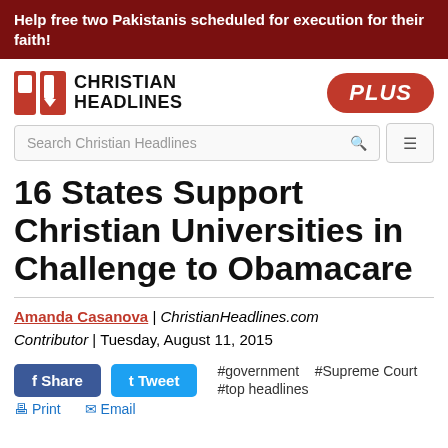Help free two Pakistanis scheduled for execution for their faith!
[Figure (logo): Christian Headlines logo with red bracket icon and bold text CHRISTIAN HEADLINES, plus orange PLUS badge]
Search Christian Headlines
16 States Support Christian Universities in Challenge to Obamacare
Amanda Casanova | ChristianHeadlines.com Contributor | Tuesday, August 11, 2015
Share  Tweet  #government  #Supreme Court  #top headlines  Print  Email